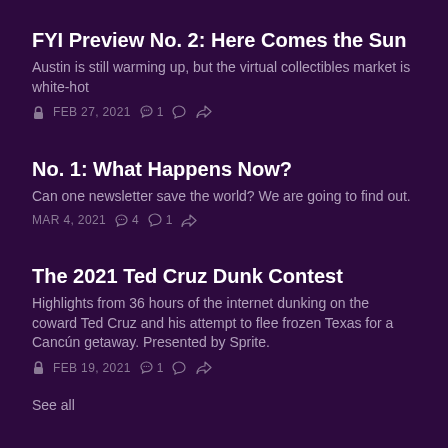FYI Preview No. 2: Here Comes the Sun
Austin is still warming up, but the virtual collectibles market is white-hot
🔒 FEB 27, 2021 ♡1 💬 ↪
No. 1: What Happens Now?
Can one newsletter save the world? We are going to find out.
MAR 4, 2021 ♡4 💬1 ↪
The 2021 Ted Cruz Dunk Contest
Highlights from 36 hours of the internet dunking on the coward Ted Cruz and his attempt to flee frozen Texas for a Cancún getaway. Presented by Sprite.
🔒 FEB 19, 2021 ♡1 💬 ↪
See all